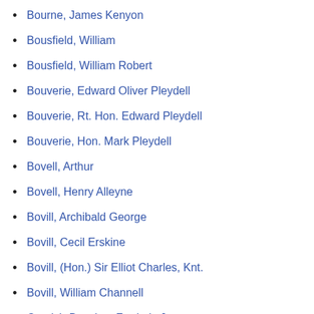Bourne, James Kenyon
Bousfield, William
Bousfield, William Robert
Bouverie, Edward Oliver Pleydell
Bouverie, Rt. Hon. Edward Pleydell
Bouverie, Hon. Mark Pleydell
Bovell, Arthur
Bovell, Henry Alleyne
Bovill, Archibald George
Bovill, Cecil Erskine
Bovill, (Hon.) Sir Elliot Charles, Knt.
Bovill, William Channell
Cornish-Bowden, Frederic James